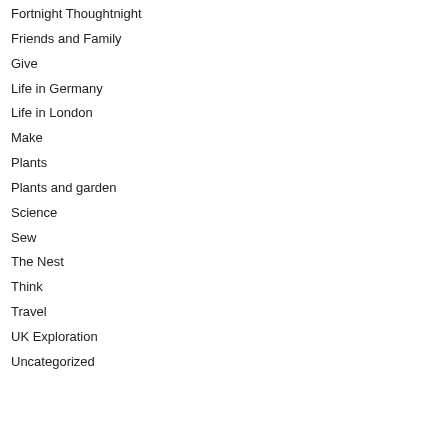Fortnight Thoughtnight
Friends and Family
Give
Life in Germany
Life in London
Make
Plants
Plants and garden
Science
Sew
The Nest
Think
Travel
UK Exploration
Uncategorized